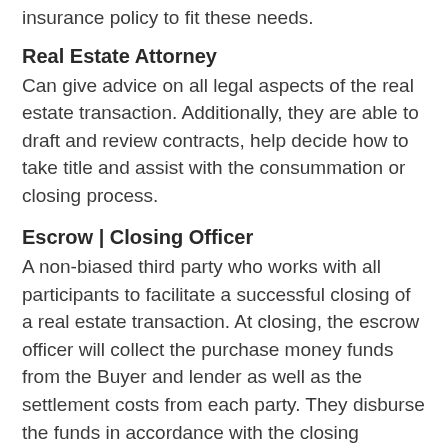insurance policy to fit these needs.
Real Estate Attorney
Can give advice on all legal aspects of the real estate transaction. Additionally, they are able to draft and review contracts, help decide how to take title and assist with the consummation or closing process.
Escrow | Closing Officer
A non-biased third party who works with all participants to facilitate a successful closing of a real estate transaction. At closing, the escrow officer will collect the purchase money funds from the Buyer and lender as well as the settlement costs from each party. They disburse the funds in accordance with the closing instructions and record the...